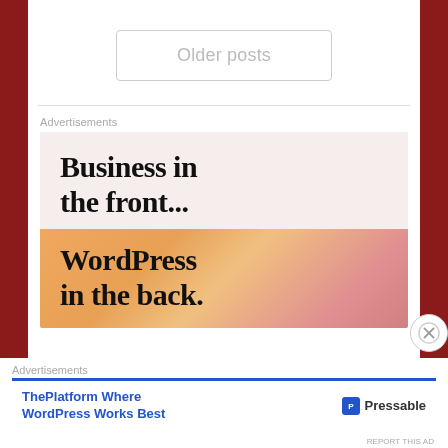Older posts
Advertisements
[Figure (illustration): Advertisement banner showing 'Business in the front... WordPress in the back.' text on a light beige background with an orange/pink gradient lower section.]
Advertisements
[Figure (illustration): Bottom ad banner: ThePlatform Where WordPress Works Best — Pressable logo on right, blue top border.]